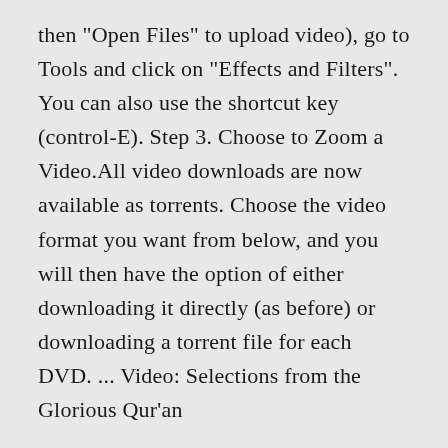then "Open Files" to upload video), go to Tools and click on "Effects and Filters". You can also use the shortcut key (control-E). Step 3. Choose to Zoom a Video.All video downloads are now available as torrents. Choose the video format you want from below, and you will then have the option of either downloading it directly (as before) or downloading a torrent file for each DVD. ... Video: Selections from the Glorious Qur'an